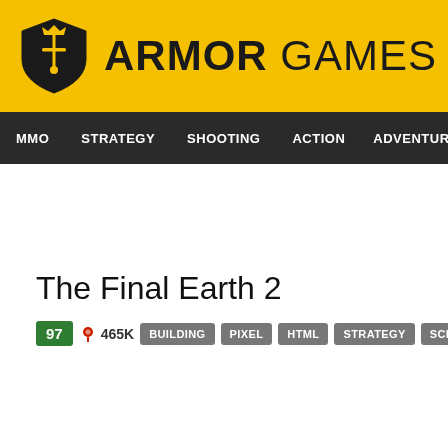ARMOR GAMES
MMO  STRATEGY  SHOOTING  ACTION  ADVENTURE  P
The Final Earth 2
97  465K  BUILDING  PIXEL  HTML  STRATEGY  SCIENCE FICTION